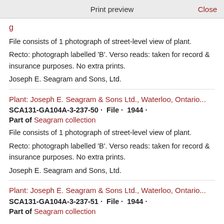Print preview   Close
File consists of 1 photograph of street-level view of plant.
Recto: photograph labelled 'B'. Verso reads: taken for record & insurance purposes. No extra prints.
Joseph E. Seagram and Sons, Ltd.
Plant: Joseph E. Seagram & Sons Ltd., Waterloo, Ontario...
SCA131-GA104A-3-237-50 · File · 1944 ·
Part of Seagram collection
File consists of 1 photograph of street-level view of plant.
Recto: photograph labelled 'B'. Verso reads: taken for record & insurance purposes. No extra prints.
Joseph E. Seagram and Sons, Ltd.
Plant: Joseph E. Seagram & Sons Ltd., Waterloo, Ontario...
SCA131-GA104A-3-237-51 · File · 1944 ·
Part of Seagram collection